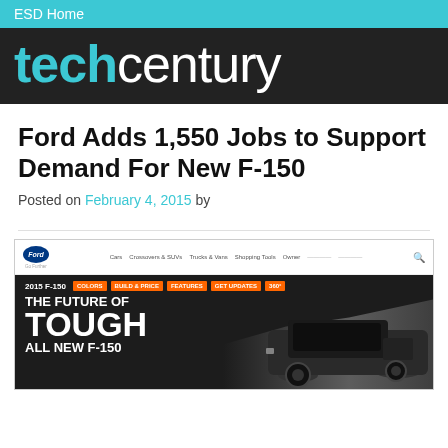ESD Home
techcentury
Ford Adds 1,550 Jobs to Support Demand For New F-150
Posted on February 4, 2015 by
[Figure (screenshot): Screenshot of the Ford website showing the 2015 F-150 page with navigation bar including Cars, Crossovers & SUVs, Trucks & Vans, Shopping Tools, Owner tabs, and a hero banner reading THE FUTURE OF TOUGH ALL NEW F-150 with orange COLORS, BUILD & PRICE, FEATURES, GET UPDATES, 360 buttons and a dark truck image on the right.]